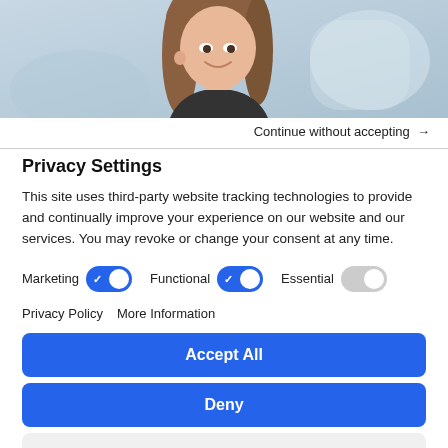[Figure (photo): Close-up photo of a smiling young woman with long hair, in soft blurred indoor/outdoor background]
Continue without accepting →
Privacy Settings
This site uses third-party website tracking technologies to provide and continually improve your experience on our website and our services. You may revoke or change your consent at any time.
Marketing [toggle on] Functional [toggle on] Essential [toggle off]
Privacy Policy   More Information
Accept All
Deny
Save Settings
Powered by Usercentrics Consent Management